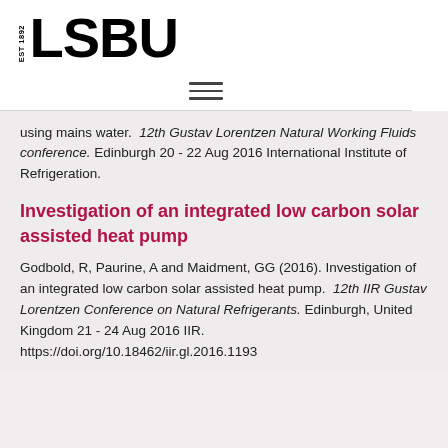LSBU EST 1892
using mains water. 12th Gustav Lorentzen Natural Working Fluids conference. Edinburgh 20 - 22 Aug 2016 International Institute of Refrigeration.
Investigation of an integrated low carbon solar assisted heat pump
Godbold, R, Paurine, A and Maidment, GG (2016). Investigation of an integrated low carbon solar assisted heat pump. 12th IIR Gustav Lorentzen Conference on Natural Refrigerants. Edinburgh, United Kingdom 21 - 24 Aug 2016 IIR. https://doi.org/10.18462/iir.gl.2016.1193